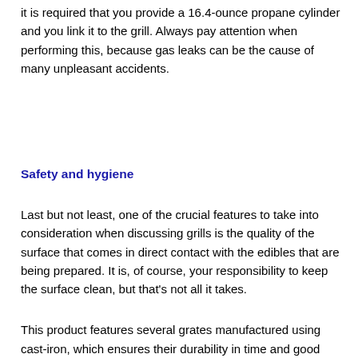it is required that you provide a 16.4-ounce propane cylinder and you link it to the grill. Always pay attention when performing this, because gas leaks can be the cause of many unpleasant accidents.
Safety and hygiene
Last but not least, one of the crucial features to take into consideration when discussing grills is the quality of the surface that comes in direct contact with the edibles that are being prepared. It is, of course, your responsibility to keep the surface clean, but that's not all it takes.
This product features several grates manufactured using cast-iron, which ensures their durability in time and good response in high-temperature conditions. The material is coated in a layer of